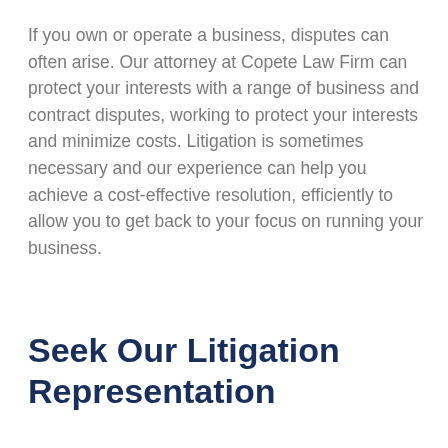If you own or operate a business, disputes can often arise. Our attorney at Copete Law Firm can protect your interests with a range of business and contract disputes, working to protect your interests and minimize costs. Litigation is sometimes necessary and our experience can help you achieve a cost-effective resolution, efficiently to allow you to get back to your focus on running your business.
Seek Our Litigation Representation